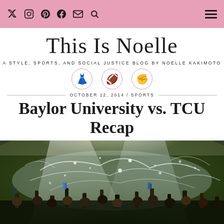Navigation bar with social icons: Twitter, Instagram, Pinterest, Facebook, Email, Search, and hamburger menu
This Is Noelle
A STYLE, SPORTS, AND SOCIAL JUSTICE BLOG BY NOELLE KAKIMOTO
[Figure (illustration): Three circular emoji icons: red dress, football, raised fist]
OCTOBER 12, 2014 / SPORTS
Baylor University vs. TCU Recap
[Figure (photo): Crowd of football fans celebrating with water spraying in stadium, people raising arms, confetti and water splashing under stadium lights]